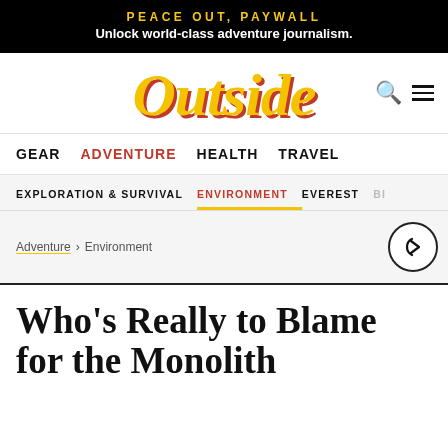PEACE OUT, PAYWALL
Unlock world-class adventure journalism.
[Figure (logo): Outside magazine logo in yellow/gold italic serif font with red drop shadow, search icon and hamburger menu on the right]
GEAR  ADVENTURE  HEALTH  TRAVEL
EXPLORATION & SURVIVAL  ENVIRONMENT  EVEREST  BI...
Adventure > Environment
Who's Really to Blame for the Monolith